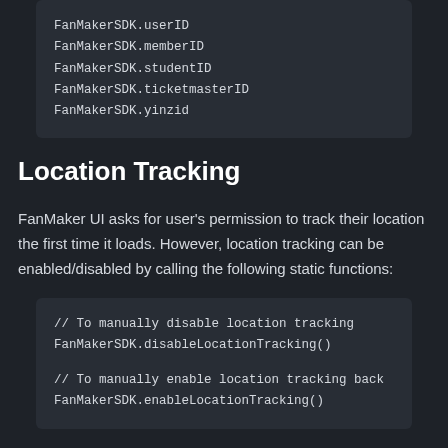FanMakerSDK.userID
FanMakerSDK.memberID
FanMakerSDK.studentID
FanMakerSDK.ticketmasterID
FanMakerSDK.yinzid
Location Tracking
FanMaker UI asks for user's permission to track their location the first time it loads. However, location tracking can be enabled/disabled by calling the following static functions:
// To manually disable location tracking
FanMakerSDK.disableLocationTracking()

// To manually enable location tracking back
FanMakerSDK.enableLocationTracking()